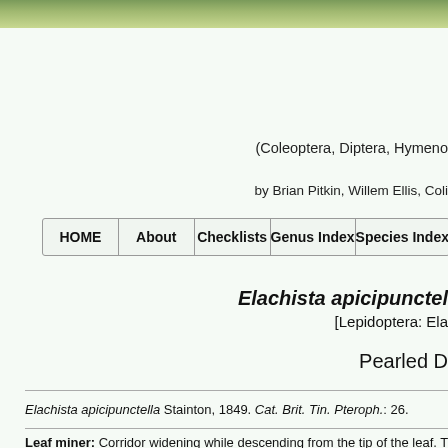[Figure (photo): Green leaf/foliage banner image at top of page]
(Coleoptera, Diptera, Hymenoptera…
by Brian Pitkin, Willem Ellis, Colin…
| HOME | About | Checklists | Genus Index | Species Index |
| --- | --- | --- | --- | --- |
Elachista apicipunctella
[Lepidoptera: Ela…
Pearled D…
Elachista apicipunctella Stainton, 1849. Cat. Brit. Tin. Pteroph.: 26.
Leaf miner: Corridor widening while descending from the tip of the leaf. Th…